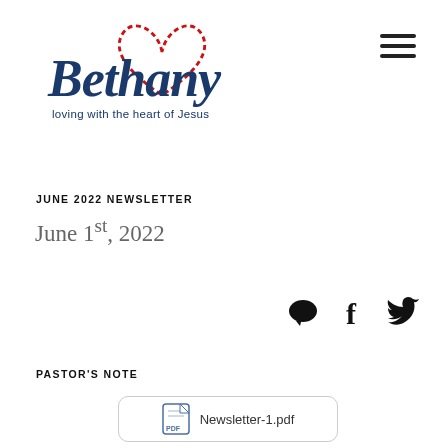[Figure (logo): Bethany church logo with italic serif text reading 'Bethany', tagline 'loving with the heart of Jesus', and a red dashed heart outline above/around the text]
JUNE 2022 NEWSLETTER
June 1st, 2022
[Figure (infographic): Three social media icons: speech bubble (comments), Facebook f, Twitter bird]
PASTOR'S NOTE
[Figure (other): PDF attachment link box with PDF icon and text 'Newsletter-1.pdf']